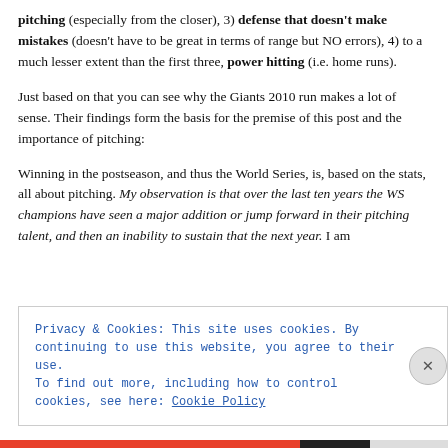pitching (especially from the closer), 3) defense that doesn't make mistakes (doesn't have to be great in terms of range but NO errors), 4) to a much lesser extent than the first three, power hitting (i.e. home runs).
Just based on that you can see why the Giants 2010 run makes a lot of sense. Their findings form the basis for the premise of this post and the importance of pitching:
Winning in the postseason, and thus the World Series, is, based on the stats, all about pitching. My observation is that over the last ten years the WS champions have seen a major addition or jump forward in their pitching talent, and then an inability to sustain that the next year. I am
Privacy & Cookies: This site uses cookies. By continuing to use this website, you agree to their use.
To find out more, including how to control cookies, see here: Cookie Policy